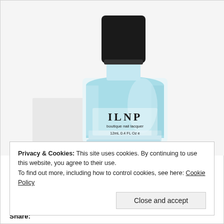[Figure (photo): ILNP boutique nail lacquer bottle in light teal/mint blue color with black cap, labeled 12mL 0.4 FL. Oz, on white background]
Privacy & Cookies: This site uses cookies. By continuing to use this website, you agree to their use.
To find out more, including how to control cookies, see here: Cookie Policy
Close and accept
Share: